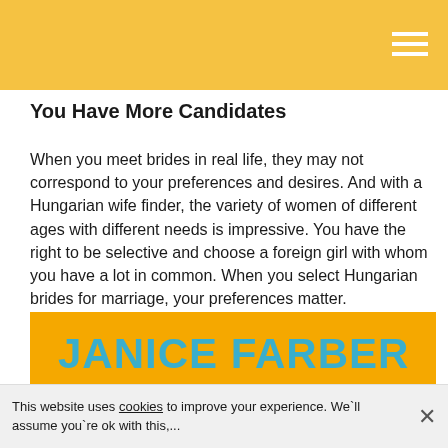[Figure (other): Golden/yellow navigation header bar with hamburger menu icon (three white horizontal lines) in top right corner]
You Have More Candidates
When you meet brides in real life, they may not correspond to your preferences and desires. And with a Hungarian wife finder, the variety of women of different ages with different needs is impressive. You have the right to be selective and choose a foreign girl with whom you have a lot in common. When you select Hungarian brides for marriage, your preferences matter.
[Figure (other): Profile card with golden/orange background showing name 'JANICE FARBER' in large teal/blue text, a horizontal teal line below the name, and a partial photo of a woman with dark hair below the line, plus a golden circular chat icon]
This website uses cookies to improve your experience. We`ll assume you`re ok with this,...